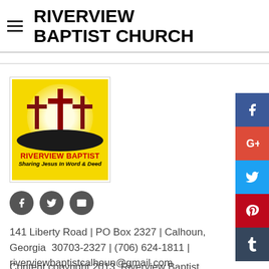RIVERVIEW BAPTIST CHURCH
[Figure (logo): Riverview Baptist Church logo: yellow background with three crosses on a hill, text 'RIVERVIEW BAPTIST' in red and 'Sharing Jesus In Word & Deed' in black]
[Figure (infographic): Small circular social media icons: Facebook (f), Twitter (bird), Email (envelope)]
141 Liberty Road | PO Box 2327 | Calhoun, Georgia  30703-2327 | (706) 624-1811 | riverviewbaptistcalhoun@gmail.com
Content copyright 2013, Riverview Baptist Church
[Figure (infographic): Vertical sidebar social media buttons: Facebook (blue), Google+ (red), Twitter (light blue), Pinterest (dark red), Tumblr (dark blue)]